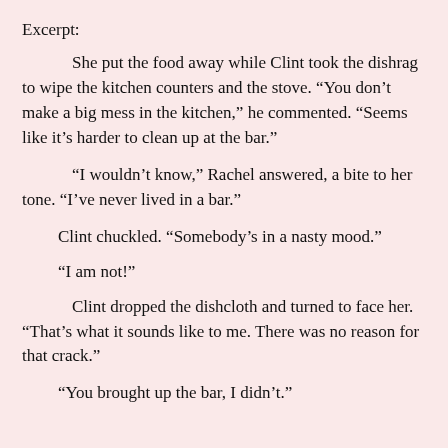Excerpt:
She put the food away while Clint took the dishrag to wipe the kitchen counters and the stove. “You don’t make a big mess in the kitchen,” he commented. “Seems like it’s harder to clean up at the bar.”
“I wouldn’t know,” Rachel answered, a bite to her tone. “I’ve never lived in a bar.”
Clint chuckled. “Somebody’s in a nasty mood.”
“I am not!”
Clint dropped the dishcloth and turned to face her. “That’s what it sounds like to me. There was no reason for that crack.”
“You brought up the bar, I didn’t.”